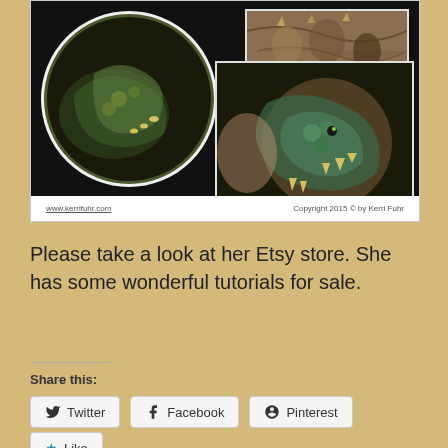[Figure (photo): Collage of dragon/reptile polymer clay artwork by Kerri Fuhr. Left: circular piece showing coiled dragon/snake in dark earthy tones. Top right: rectangular photo of dragon wing or body detail. Bottom right: circular piece showing dragon head with open mouth and claws. Footer text: www.kerrifuhr.com and Copyright 2015 © by Kerri Fuhr]
Please take a look at her Etsy store. She has some wonderful tutorials for sale.
Share this:
Twitter  Facebook  Pinterest
Like
Be the first to like this.